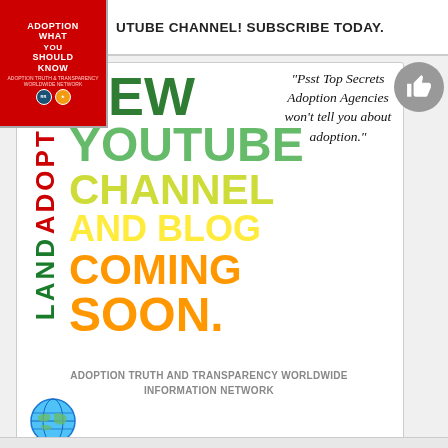[Figure (illustration): Book cover thumbnail: red background with text ADOPTION WHAT YOU SHOULD KNOW, with logo badges]
UTUBE CHANNEL! SUBSCRIBE TODAY.
[Figure (infographic): Adoptionland promotional graphic with colorful text: NEW YOUTUBE CHANNEL AND BLOG COMING SOON. with quote 'Psst Top Secrets Adoption Agencies won't tell you about adoption.' and a tree logo made of colored circles]
ADOPTION TRUTH AND TRANSPARENCY WORLDWIDE INFORMATION NETWORK
[Figure (illustration): Globe icon — blue and white world map sphere]